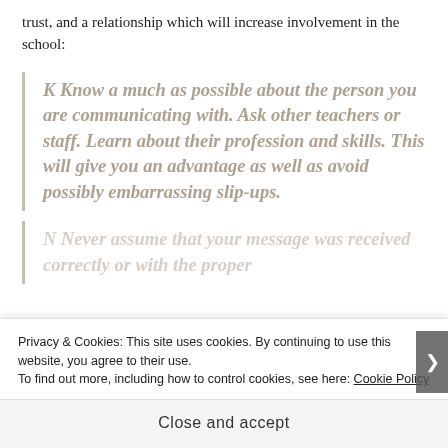trust, and a relationship which will increase involvement in the school:
K Know a much as possible about the person you are communicating with. Ask other teachers or staff. Learn about their profession and skills. This will give you an advantage as well as avoid possibly embarrassing slip-ups.
N Never assume that your message was received correctly or with the proper
Privacy & Cookies: This site uses cookies. By continuing to use this website, you agree to their use.
To find out more, including how to control cookies, see here: Cookie Policy
Close and accept